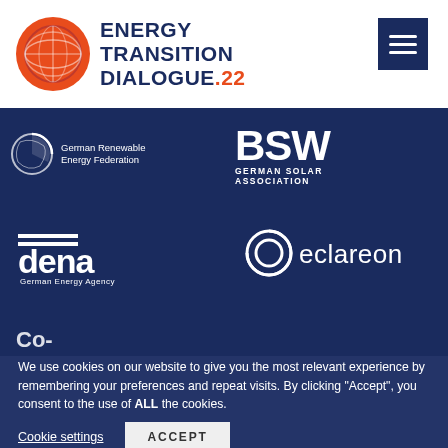[Figure (logo): Energy Transition Dialogue .22 logo with circular spiral icon in red/orange and dark blue text]
[Figure (logo): German Renewable Energy Federation logo — partial circle icon and text]
[Figure (logo): BSW German Solar Association logo in white on dark blue]
[Figure (logo): dena German Energy Agency logo in white on dark blue]
[Figure (logo): eclareon logo with spiral circle icon in white on dark blue]
Co-
We use cookies on our website to give you the most relevant experience by remembering your preferences and repeat visits. By clicking “Accept”, you consent to the use of ALL the cookies.
Cookie settings
ACCEPT